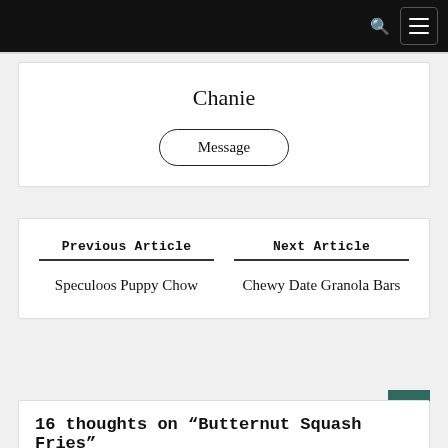Navigation bar with search and menu icons
Chanie
Message
Previous Article
Speculoos Puppy Chow
Next Article
Chewy Date Granola Bars
16 thoughts on “Butternut Squash Fries”